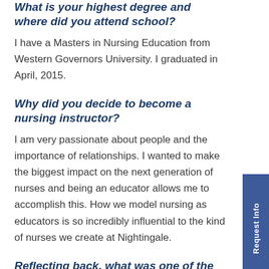What is your highest degree and where did you attend school?
I have a Masters in Nursing Education from Western Governors University. I graduated in April, 2015.
Why did you decide to become a nursing instructor?
I am very passionate about people and the importance of relationships. I wanted to make the biggest impact on the next generation of nurses and being an educator allows me to accomplish this. How we model nursing as educators is so incredibly influential to the kind of nurses we create at Nightingale.
Reflecting back, what was one of the more challenging situations either while you were in